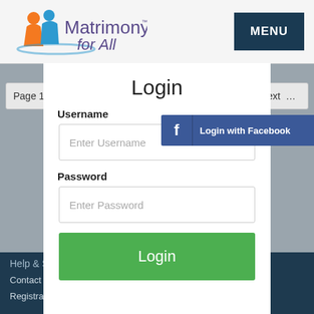[Figure (logo): Matrimony for All logo with orange and blue figures icon and text]
MENU
Page 1 of 5
Next ...
Login
Username
[Figure (screenshot): Login with Facebook button with Facebook f icon]
Enter Username
Password
Enter Password
Login
Help & Supp...
Contact Us
Registration